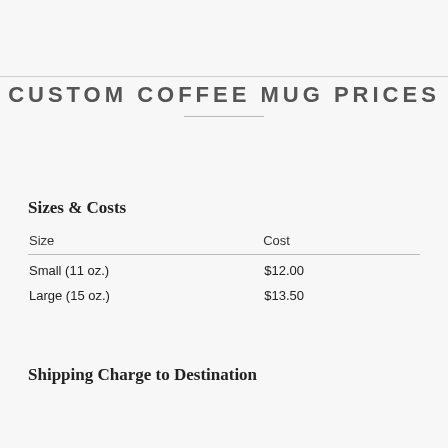CUSTOM COFFEE MUG PRICES
Sizes & Costs
| Size | Cost |
| --- | --- |
| Small (11 oz.) | $12.00 |
| Large (15 oz.) | $13.50 |
Shipping Charge to Destination